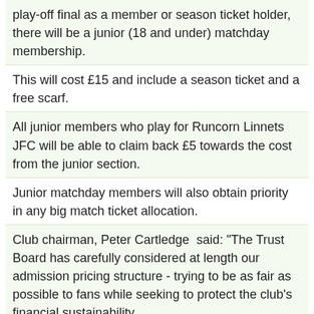play-off final as a member or season ticket holder, there will be a junior (18 and under) matchday membership.
This will cost £15 and include a season ticket and a free scarf.
All junior members who play for Runcorn Linnets JFC will be able to claim back £5 towards the cost from the junior section.
Junior matchday members will also obtain priority in any big match ticket allocation.
Club chairman, Peter Cartledge  said: "The Trust Board has carefully considered at length our admission pricing structure - trying to be as fair as possible to fans while seeking to protect the club's financial sustainability.
"Eventually, with much reluctance and regret, it was decided (after four years of charging the Northern Premier League minimum) that we need to raise our admission prices.